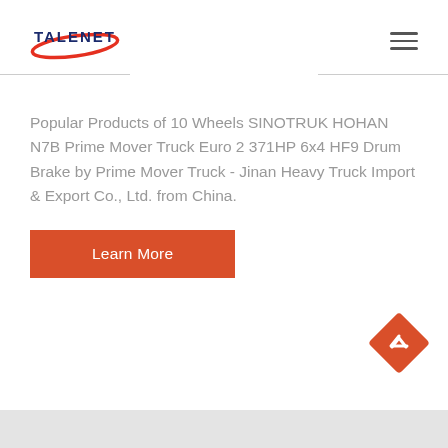[Figure (logo): TALENET company logo with red swoosh and blue text]
Popular Products of 10 Wheels SINOTRUK HOHAN N7B Prime Mover Truck Euro 2 371HP 6x4 HF9 Drum Brake by Prime Mover Truck - Jinan Heavy Truck Import & Export Co., Ltd. from China.
Learn More